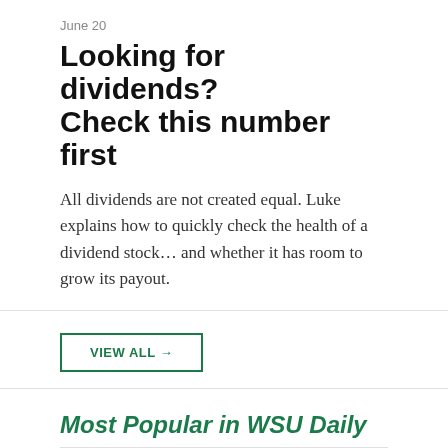June 20
Looking for dividends? Check this number first
All dividends are not created equal. Luke explains how to quickly check the health of a dividend stock… and whether it has room to grow its payout.
VIEW ALL →
Most Popular in WSU Daily
If the Fed does this… sell stocks immediately